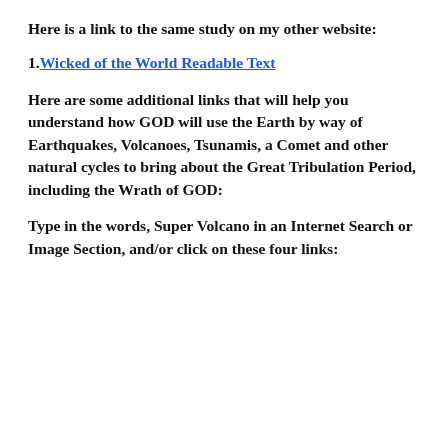Here is a link to the same study on my other website:
1. Wicked of the World Readable Text
Here are some additional links that will help you understand how GOD will use the Earth by way of Earthquakes, Volcanoes, Tsunamis, a Comet and other natural cycles to bring about the Great Tribulation Period, including the Wrath of GOD:
Type in the words, Super Volcano in an Internet Search or Image Section, and/or click on these four links: